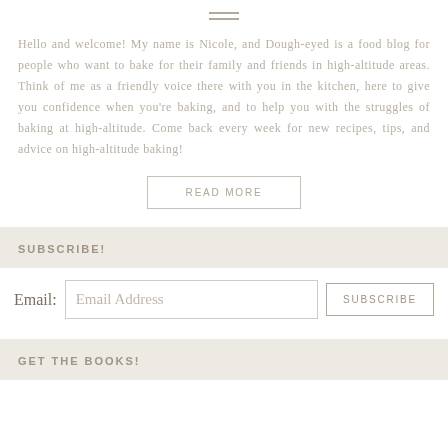[Figure (illustration): Hamburger menu icon with two horizontal lines]
Hello and welcome! My name is Nicole, and Dough-eyed is a food blog for people who want to bake for their family and friends in high-altitude areas. Think of me as a friendly voice there with you in the kitchen, here to give you confidence when you're baking, and to help you with the struggles of baking at high-altitude. Come back every week for new recipes, tips, and advice on high-altitude baking!
READ MORE
SUBSCRIBE!
Email:  Email Address  SUBSCRIBE
GET THE BOOKS!